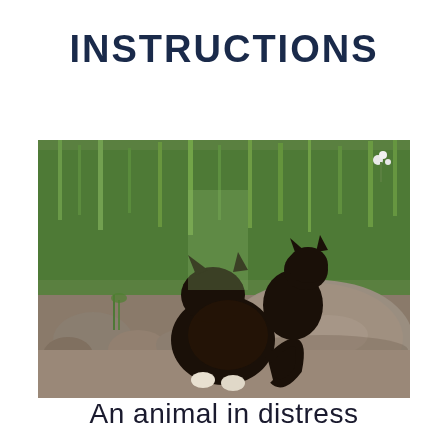INSTRUCTIONS
[Figure (photo): Two black cats sitting on rocks outdoors, viewed from behind, with green grass in the background. One cat is slightly elevated looking up, the other is larger and in the foreground. Both have white paws visible.]
An animal in distress